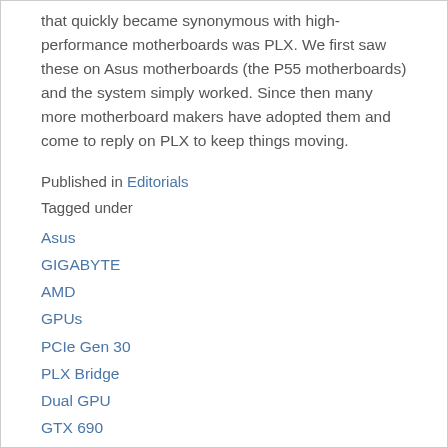that quickly became synonymous with high-performance motherboards was PLX. We first saw these on Asus motherboards (the P55 motherboards) and the system simply worked. Since then many more motherboard makers have adopted them and come to reply on PLX to keep things moving.
Published in Editorials
Tagged under
Asus
GIGABYTE
AMD
GPUs
PCIe Gen 30
PLX Bridge
Dual GPU
GTX 690
PLX PEX8747
READ MORE...
Friday, 03 February 2012 09:37